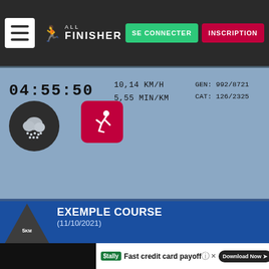[Figure (screenshot): All Finisher website navigation bar with hamburger menu, logo, SE CONNECTER and INSCRIPTION buttons]
04:55:50   10,14 KM/H   GEN: 992/8721
            5,55 MIN/KM  CAT: 126/2325
[Figure (illustration): Rain weather icon (dark circle with cloud and rain dots) and running person icon (red rounded square)]
EXEMPLE COURSE (11/10/2021) 5KM
00:29:55   10,03 KM/H   GEN: 879/8595
            5,59 MIN/KM  CAT: 16/2912
[Figure (illustration): Cloudy weather icon (dark circle with clouds) and running person icon (red rounded square)]
Fast credit card payoff — Tally — Download Now